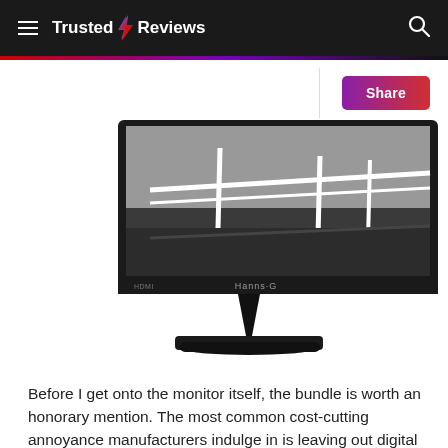Trusted Reviews
[Figure (photo): A Hanns-G monitor displaying a black and white photograph of a railing and canal scene. The monitor has a black bezel with 'Hanns·G' logo and 'HDMI' label visible. It sits on a black stand with a wide base.]
Before I get onto the monitor itself, the bundle is worth an honorary mention. The most common cost-cutting annoyance manufacturers indulge in is leaving out digital